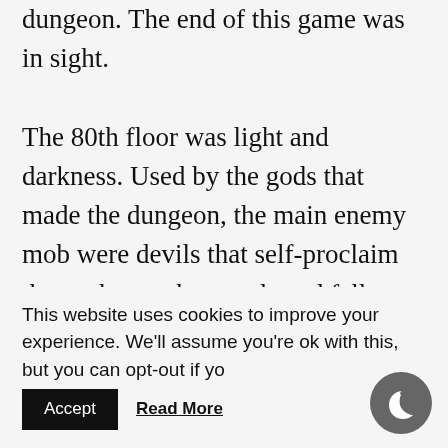dungeon. The end of this game was in sight.
The 80th floor was light and darkness. Used by the gods that made the dungeon, the main enemy mob were devils that self-proclaim themselves to be angels and fallen angels that kill the devils to create unspeakable undead. Here, it was required to have a means to attack monsters with holy and dark attribute. There was also a need for countermeasures against confusion and silence
This website uses cookies to improve your experience. We'll assume you're ok with this, but you can opt-out if you wish.
Accept
Read More